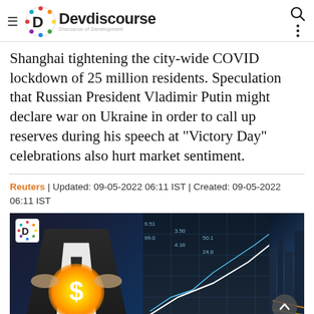Devdiscourse — Discourse of Development
Shanghai tightening the city-wide COVID lockdown of 25 million residents. Speculation that Russian President Vladimir Putin might declare war on Ukraine in order to call up reserves during his speech at "Victory Day" celebrations also hurt market sentiment.
Reuters | Updated: 09-05-2022 06:11 IST | Created: 09-05-2022 06:11 IST
[Figure (photo): Composite image: businessman holding glowing dollar sign, financial chart/stock market data overlay, and aerial night cityscape with highway traffic]